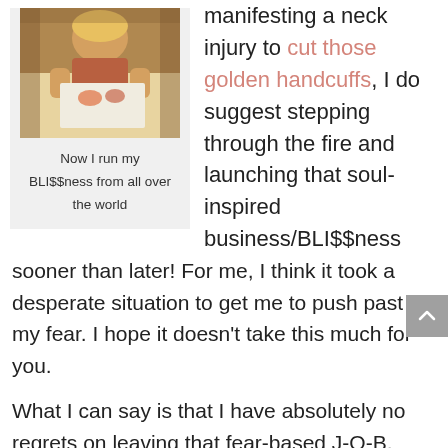[Figure (photo): Photo of a woman eating at a restaurant/table]
Now I run my BLI$$ness from all over the world
manifesting a neck injury to cut those golden handcuffs, I do suggest stepping through the fire and launching that soul-inspired business/BLI$$ness sooner than later! For me, I think it took a desperate situation to get me to push past my fear. I hope it doesn't take this much for you.
What I can say is that I have absolutely no regrets on leaving that fear-based J-O-B, don't miss the work in the slightest (I thought